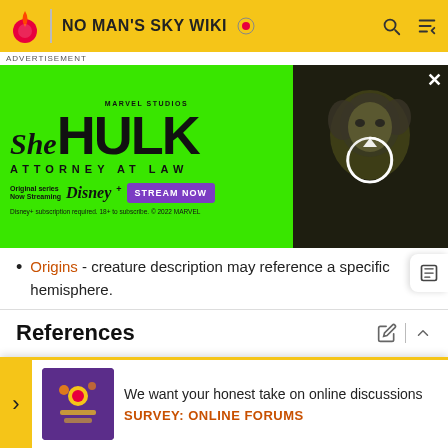NO MAN'S SKY WIKI
[Figure (screenshot): She-Hulk: Attorney at Law advertisement banner on green background with Disney+ Stream Now button and actress photo]
Origins - creature description may reference a specific hemisphere.
References
1. ↑ Deciphering your current location on planets using the co... Map fo... Reddit
[Figure (screenshot): Survey popup: We want your honest take on online discussions - SURVEY: ONLINE FORUMS]